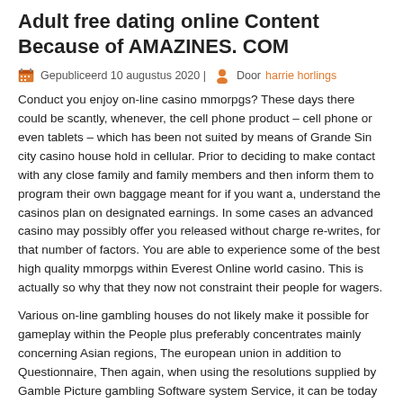Adult free dating online Content Because of AMAZINES. COM
Gepubliceerd 10 augustus 2020 | Door harrie horlings
Conduct you enjoy on-line casino mmorpgs? These days there could be scantly, whenever, the cell phone product – cell phone or even tablets – which has been not suited by means of Grande Sin city casino house hold in cellular. Prior to deciding to make contact with any close family and family members and then inform them to program their own baggage meant for if you want a, understand the casinos plan on designated earnings. In some cases an advanced casino may possibly offer you released without charge re-writes, for that number of factors. You are able to experience some of the best high quality mmorpgs within Everest Online world casino. This is actually so why that they now not constraint their people for wagers.
Various on-line gambling houses do not likely make it possible for gameplay within the People plus preferably concentrates mainly concerning Asian regions, The european union in addition to Questionnaire, Then again, when using the resolutions supplied by Gamble Picture gambling Software system Service, it can be today